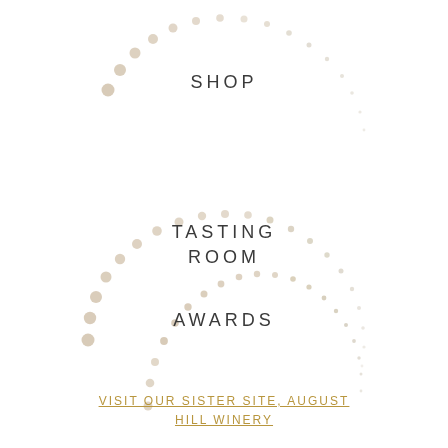[Figure (illustration): Three decorative arch shapes made of pearl-like dots arranged in semicircles, stacked vertically. Each arch has larger warm beige dots on the left side transitioning to smaller gray dots on the right side.]
SHOP
TASTING ROOM
AWARDS
VISIT OUR SISTER SITE, AUGUST HILL WINERY